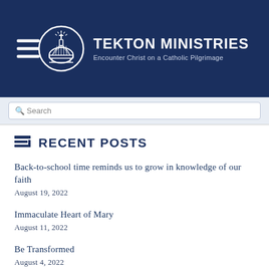TEKTON MINISTRIES — Encounter Christ on a Catholic Pilgrimage
RECENT POSTS
Back-to-school time reminds us to grow in knowledge of our faith
August 19, 2022
Immaculate Heart of Mary
August 11, 2022
Be Transformed
August 4, 2022